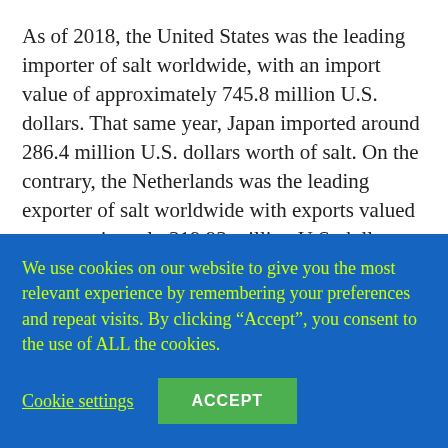As of 2018, the United States was the leading importer of salt worldwide, with an import value of approximately 745.8 million U.S. dollars. That same year, Japan imported around 286.4 million U.S. dollars worth of salt. On the contrary, the Netherlands was the leading exporter of salt worldwide with exports valued at approximately 319.93 million U.S. dollars while Germany exported 255.24 million U.S. dollars worth of salt worldwide.
Nigeria's salt production level is still relatively low as
We use cookies on our website to give you the most relevant experience by remembering your preferences and repeat visits. By clicking “Accept”, you consent to the use of ALL the cookies.
Cookie settings
ACCEPT